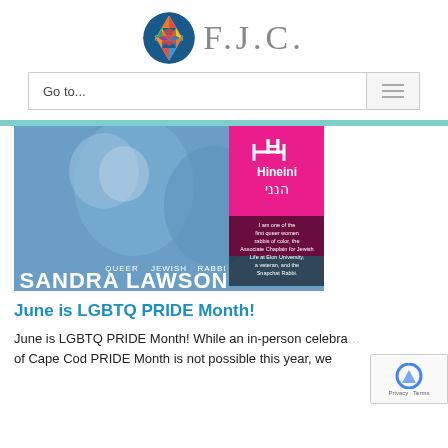[Figure (logo): F.J.C. logo with colorful Star of David circle and gray text 'F.J.C.']
Go to...
[Figure (photo): Photo of Sandra Lawson with overlay text: 'Hineini / הנני', 'I am one of the first queer women rabbis of color, the Associate Chaplain for Jewish Life at Elon University, a veteran, and the Snapchat Rabbi.' Labels: QUEER JEWISH RABBI VETERAN POWERLIFTER. Name: SANDRA LAWSON]
June is LGBTQ PRIDE Month!
June is LGBTQ PRIDE Month! While an in-person celebration of Cape Cod PRIDE Month is not possible this year, we...